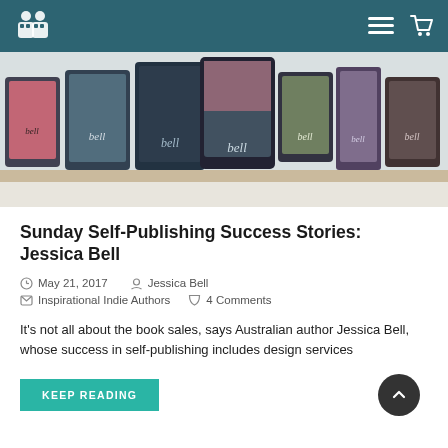Navigation bar with logo and menu/cart icons
[Figure (photo): Banner image showing multiple book covers and e-readers with 'bell' branding on a wooden shelf background]
Sunday Self-Publishing Success Stories: Jessica Bell
May 21, 2017   Jessica Bell   Inspirational Indie Authors   4 Comments
It's not all about the book sales, says Australian author Jessica Bell, whose success in self-publishing includes design services
KEEP READING